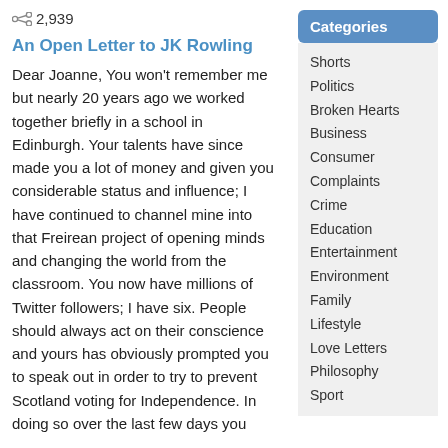60  2,939
An Open Letter to JK Rowling
Dear Joanne, You won't remember me but nearly 20 years ago we worked together briefly in a school in Edinburgh. Your talents have since made you a lot of money and given you considerable status and influence; I have continued to channel mine into that Freirean project of opening minds and changing the world from the classroom. You now have millions of Twitter followers; I have six. People should always act on their conscience and yours has obviously prompted you to speak out in order to try to prevent Scotland voting for Independence. In doing so over the last few days you
Categories
Shorts
Politics
Broken Hearts
Business
Consumer
Complaints
Crime
Education
Entertainment
Environment
Family
Lifestyle
Love Letters
Philosophy
Sport